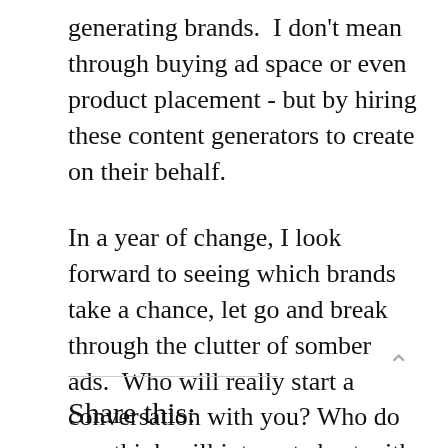generating brands.  I don't mean through buying ad space or even product placement - but by hiring these content generators to create on their behalf.
In a year of change, I look forward to seeing which brands take a chance, let go and break through the clutter of somber ads.  Who will really start a conversation with you? Who do you think will integrate best with one of pop culture's favorite shows?
Share this: